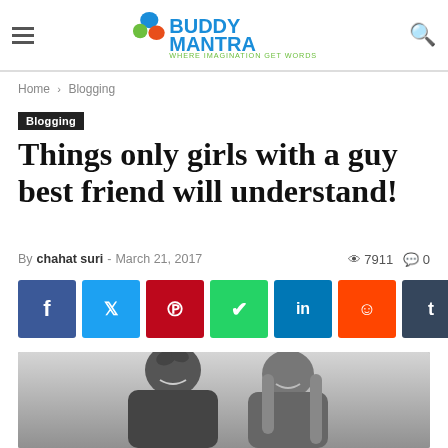BuddyMantra — WHERE IMAGINATION GET WORDS
Home › Blogging
Blogging
Things only girls with a guy best friend will understand!
By chahat suri - March 21, 2017   7911   0
[Figure (screenshot): Social share buttons: Facebook, Twitter, Pinterest, WhatsApp, LinkedIn, Reddit, Tumblr, More]
[Figure (photo): Black and white photo of a young man and woman smiling together, heads close, candid fun pose]